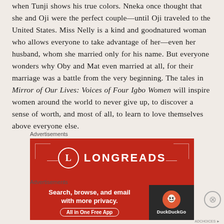when Tunji shows his true colors. Nneka once thought that she and Oji were the perfect couple—until Oji traveled to the United States. Miss Nelly is a kind and goodnatured woman who allows everyone to take advantage of her—even her husband, whom she married only for his name. But everyone wonders why Oby and Mat even married at all, for their marriage was a battle from the very beginning. The tales in Mirror of Our Lives: Voices of Four Igbo Women will inspire women around the world to never give up, to discover a sense of worth, and most of all, to learn to love themselves above everyone else.
Advertisements
[Figure (illustration): Longreads advertisement banner with red background, circular L logo, LONGREADS text, and partial tagline text at bottom.]
Advertisements
[Figure (illustration): DuckDuckGo advertisement: red left panel with 'Search, browse, and email with more privacy. All in One Free App' and dark right panel with DuckDuckGo logo.]